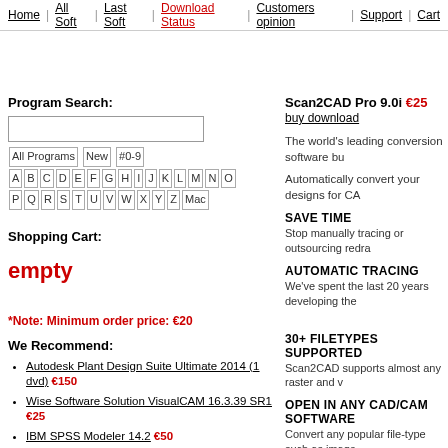Home | All Soft | Last Soft | Download Status | Customers opinion | Support | Cart
Program Search:
[All Programs] [New] [#0-9] [A] [B] [C] [D] [E] [F] [G] [H] [I] [J] [K] [L] [M] [N] [O] [P] [Q] [R] [S] [T] [U] [V] [W] [X] [Y] [Z] [Mac]
Shopping Cart:
empty
*Note: Minimum order price: €20
We Recommend:
Autodesk Plant Design Suite Ultimate 2014 (1 dvd) €150
Wise Software Solution VisualCAM 16.3.39 SR1 €25
IBM SPSS Modeler 14.2 €50
IBM WebSphere Information Integrator Content Edition 8.3 €36
Xenon 11 SP0 Build 1111 €70
Scan2CAD Pro 9.0i €25 buy download
The world's leading conversion software bu...
Automatically convert your designs for CA...
SAVE TIME
Stop manually tracing or outsourcing redra...
AUTOMATIC TRACING
We've spent the last 20 years developing the...
30+ FILETYPES SUPPORTED
Scan2CAD supports almost any raster and v...
OPEN IN ANY CAD/CAM SOFTWARE
Convert any popular file-type such as image...
SHAPE RECOGNITION
Scan2CAD recognises objects converting th... lines. Over 20 vector types supported.
Convert text in your designs (OCR)
AUTOMATIC TEXT CONVERSION
Scan2CAD's Optical Character Recognition...
EDIT TEXT IN YOUR DESIGNS